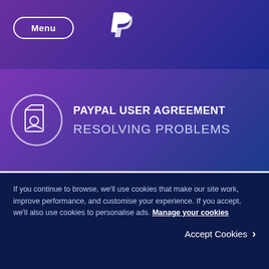Menu | PayPal
PAYPAL USER AGREEMENT
RESOLVING PROBLEMS
conversions. Any rates shown using the Currency Converter tool indicate the applicable rates at the time you use the tool and are subject to change. Subject to other provisions of the user agreement, when you complete a transaction, the transaction exchange rate applying to the transaction will be shown to you so you can decide to make your payment at
If you continue to browse, we’ll use cookies that make our site work, improve performance, and customise your experience. If you accept, we’ll also use cookies to personalise ads. Manage your cookies
Accept Cookies ›